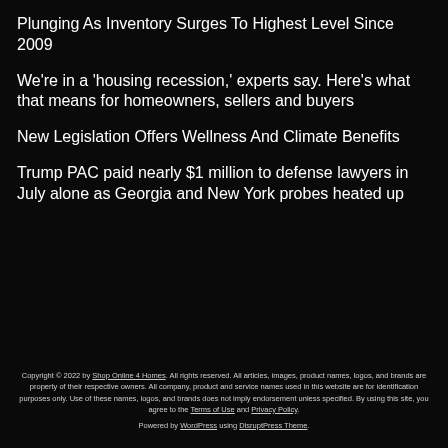Plunging As Inventory Surges To Highest Level Since 2009
We're in a 'housing recession,' experts say. Here's what that means for homeowners, sellers and buyers
New Legislation Offers Wellness And Climate Benefits
Trump PAC paid nearly $1 million to defense lawyers in July alone as Georgia and New York probes heated up
Copyright © 2022 by Shop Online 4 Homes. All rights reserved. All articles, images, product names, logos, and brands are property of their respective owners. All company, product and service names used in this website are for identification purposes only. Use of these names, logos, and brands does not imply endorsement unless specified. By using this site, you agree to the Terms of Use and Privacy Policy. Powered by WordPress using DisruptPress Theme.